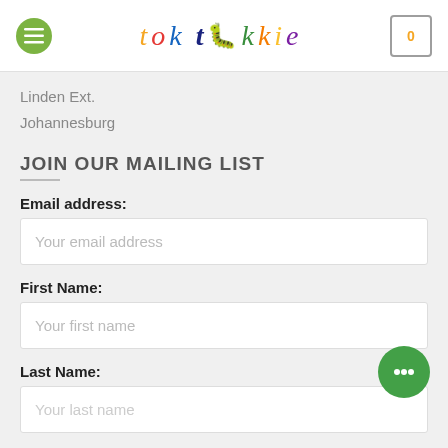tok tokkie
Linden Ext.
Johannesburg
JOIN OUR MAILING LIST
Email address:
Your email address
First Name:
Your first name
Last Name:
Your last name